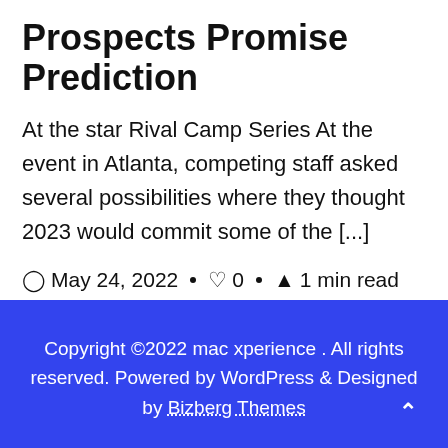Prospects Promise Prediction
At the star Rival Camp Series At the event in Atlanta, competing staff asked several possibilities where they thought 2023 would commit some of the [...]
May 24, 2022 · 0 · 1 min read
Copyright ©2022 mac xperience . All rights reserved. Powered by WordPress & Designed by Bizberg Themes